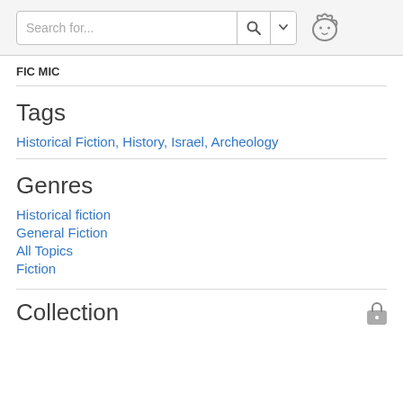Search for...
FIC MIC
Tags
Historical Fiction, History, Israel, Archeology
Genres
Historical fiction
General Fiction
All Topics
Fiction
Collection